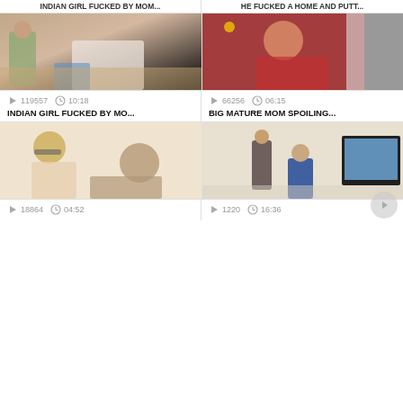INDIAN GIRL FUCKED BY MO...
BIG MATURE MOM SPOILING...
[Figure (photo): Video thumbnail showing two people sitting on floor]
[Figure (photo): Video thumbnail showing mature woman with red hair]
119557  10:18
66256  06:15
INDIAN GIRL FUCKED BY MO...
BIG MATURE MOM SPOILING...
[Figure (photo): Video thumbnail showing blonde woman with glasses and bearded man]
[Figure (photo): Video thumbnail showing person with TV and gaming scene]
18864  04:52
1220  16:36